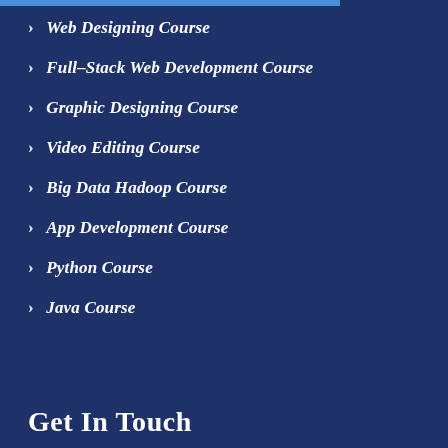> Web Designing Course
> Full-Stack Web Development Course
> Graphic Designing Course
> Video Editing Course
> Big Data Hadoop Course
> App Development Course
> Python Course
> Java Course
Get In Touch